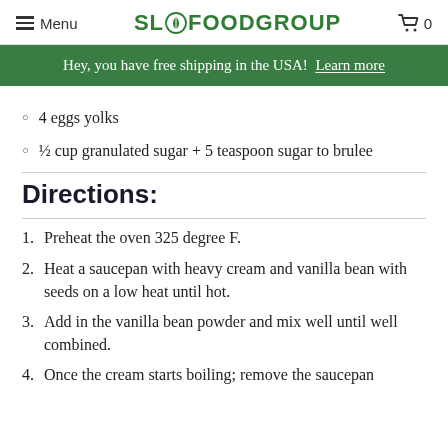Menu | SLOFOODGROUP | 0
Hey, you have free shipping in the USA! Learn more
4 eggs yolks
½ cup granulated sugar + 5 teaspoon sugar to brulee
Directions:
1. Preheat the oven 325 degree F.
2. Heat a saucepan with heavy cream and vanilla bean with seeds on a low heat until hot.
3. Add in the vanilla bean powder and mix well until well combined.
4. Once the cream starts boiling; remove the saucepan